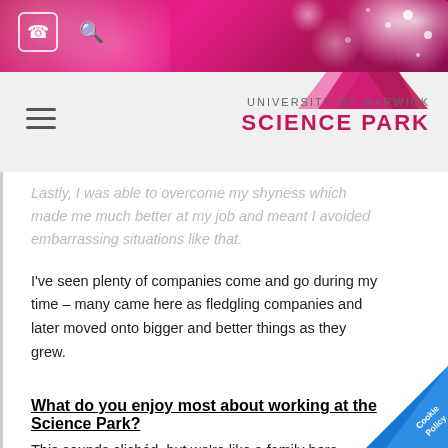[Figure (screenshot): Website header banner with pink/magenta gradient background, sparkles and bokeh effect. Phone and search icons on the left in white.]
UNIVERSITY OF WARWICK SCIENCE PARK
...lastly, I was able to overcome my shyness which made me much better at my job and meant I avoided embarrassing situations like that.
I've seen plenty of companies come and go during my time – many came here as fledgling companies and later moved onto bigger and better things as they grew.
What do you enjoy most about working at the Science Park?
This sounds clichéd, but we're like a family here...